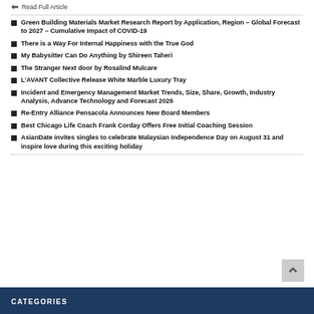Read Full Article
Green Building Materials Market Research Report by Application, Region – Global Forecast to 2027 – Cumulative Impact of COVID-19
There is a Way For Internal Happiness with the True God
My Babysitter Can Do Anything by Shireen Taheri
The Stranger Next door by Rosalind Mulcare
L'AVANT Collective Release White Marble Luxury Tray
Incident and Emergency Management Market Trends, Size, Share, Growth, Industry Analysis, Advance Technology and Forecast 2026
Re-Entry Alliance Pensacola Announces New Board Members
Best Chicago Life Coach Frank Corday Offers Free Initial Coaching Session
AsianDate invites singles to celebrate Malaysian Independence Day on August 31 and inspire love during this exciting holiday
CATEGORIES